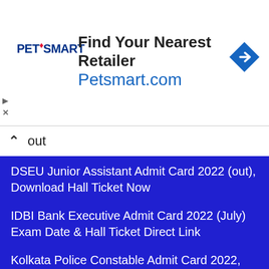[Figure (other): PetSmart advertisement banner with logo, 'Find Your Nearest Retailer' text, 'Petsmart.com' URL in blue, and a blue diamond direction arrow icon]
out
DSEU Junior Assistant Admit Card 2022 (out), Download Hall Ticket Now
IDBI Bank Executive Admit Card 2022 (July) Exam Date & Hall Ticket Direct Link
Kolkata Police Constable Admit Card 2022, Prelims Call Letter Download
UPPCL JE Civil Admit Card 2022: Download CBT Hall Ticket @ upenergy.in